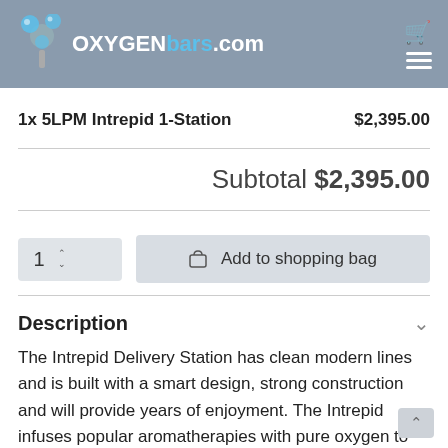[Figure (logo): OxygenBars.com logo with tree/molecule icon on grey header background]
1x 5LPM Intrepid 1-Station    $2,395.00
Subtotal $2,395.00
1  Add to shopping bag
Description
The Intrepid Delivery Station has clean modern lines and is built with a smart design, strong construction and will provide years of enjoyment. The Intrepid infuses popular aromatherapies with pure oxygen to